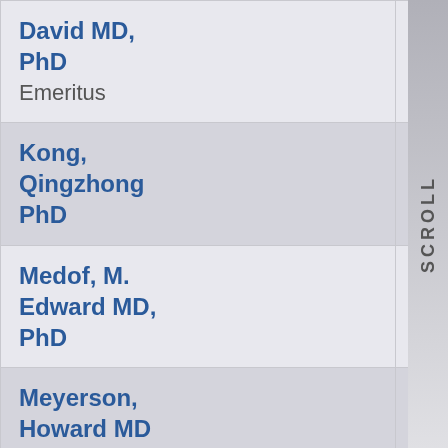| Name | Program | Email |
| --- | --- | --- |
| David MD, PhD
Emeritus | ITP |  |
| Kong, Qingzhong PhD | MCBDTP | qingzhong.kong |
| Medof, M. Edward MD, PhD | ITP | m.medof@case |
| Meyerson, Howard MD | CBTP
ITP | howard.meyers |
| Nedrud, John | ITP | john.nedrud@c |